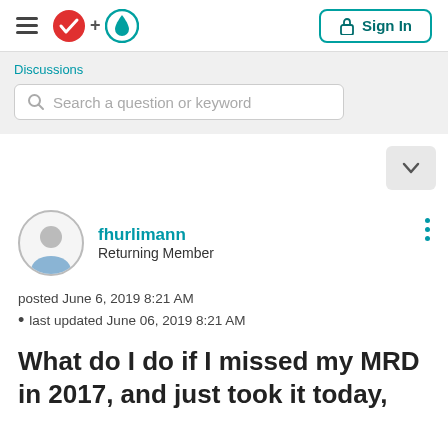[Figure (logo): Site logo: red checkmark circle plus teal water drop circle]
[Figure (screenshot): Sign In button with lock icon, teal border]
Discussions
Search a question or keyword
[Figure (screenshot): Dropdown arrow button]
[Figure (illustration): User avatar: person silhouette in circle]
fhurlimann
Returning Member
posted June 6, 2019 8:21 AM
• last updated June 06, 2019 8:21 AM
What do I do if I missed my MRD in 2017, and just took it today,